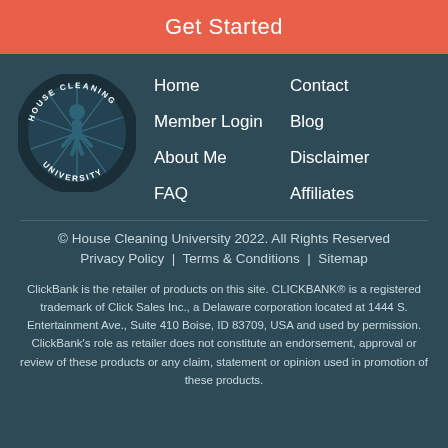Get Started
[Figure (logo): House Cleaning University circular logo with dark teal background and figure holding cleaning equipment with radiating lines]
Home
Member Login
About Me
FAQ
Contact
Blog
Disclaimer
Affiliates
© House Cleaning University 2022. All Rights Reserved
Privacy Policy  |  Terms & Conditions  |  Sitemap
ClickBank is the retailer of products on this site. CLICKBANK® is a registered trademark of Click Sales Inc., a Delaware corporation located at 1444 S. Entertainment Ave., Suite 410 Boise, ID 83709, USA and used by permission. ClickBank's role as retailer does not constitute an endorsement, approval or review of these products or any claim, statement or opinion used in promotion of these products.